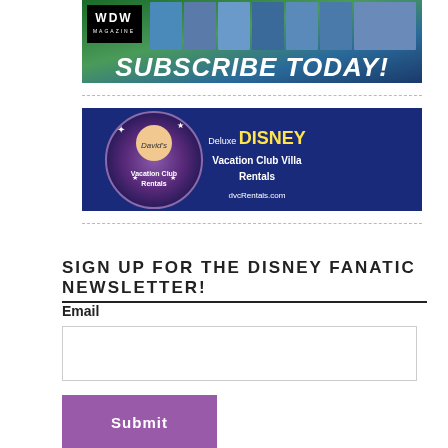[Figure (illustration): WDW Magazine advertisement banner with 'SUBSCRIBE TODAY!' text and magazine cover thumbnails on colorful background]
[Figure (illustration): David's Vacation Club Rentals advertisement with blue background showing 'Deluxe DISNEY Vacation Club Villa Rentals' and dvcRentals.com]
SIGN UP FOR THE DISNEY FANATIC NEWSLETTER!
Email
Submit